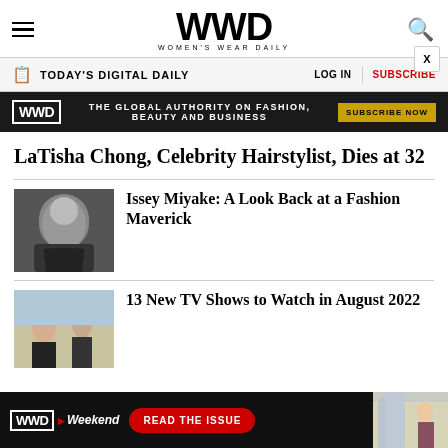WWD WOMEN'S WEAR DAILY
TODAY'S DIGITAL DAILY  LOG IN  SUBSCRIBE
[Figure (infographic): WWD ad banner: THE GLOBAL AUTHORITY ON FASHION, BEAUTY AND BUSINESS — SUBSCRIBE NOW]
LaTisha Chong, Celebrity Hairstylist, Dies at 32
[Figure (photo): Black and white portrait photo of Issey Miyake smiling]
Issey Miyake: A Look Back at a Fashion Maverick
[Figure (photo): Two people standing outdoors in a desert-like setting]
13 New TV Shows to Watch in August 2022
[Figure (infographic): WWD Weekend bottom ad banner: READ THE ISSUE]